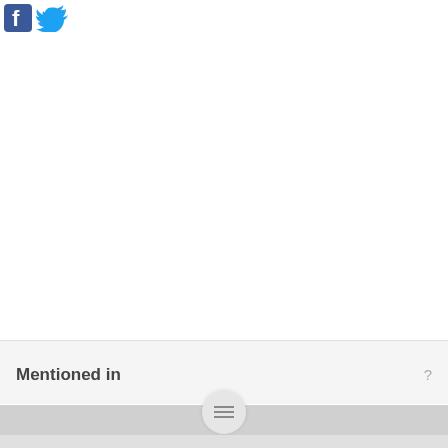[Figure (logo): Facebook and Twitter social media icons at top left]
Mentioned in
[Figure (other): Navigation handle with hamburger menu icon at bottom]